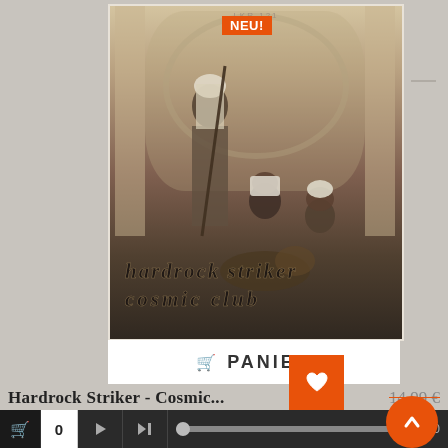[Figure (photo): Album cover for Hardrock Striker - Cosmic Club. Sepia-toned vintage photograph of three men in traditional Middle Eastern/Moroccan clothing, posed in front of ornate Moorish architectural arches. Overlaid with stylized Arabic-script-style text reading 'hardrock striker' and 'cosmic club'. Orange 'NEU!' badge in upper left. Orange heart button in lower right.]
PANIER
Hardrock Striker - Cosmic...
14,99 €